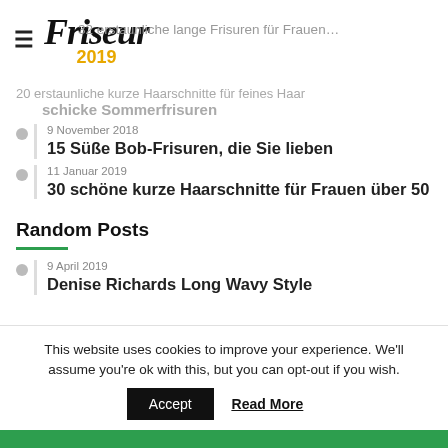Friseur 2019
32 erstaunliche lange Frisuren für Frauen
20 erstaunliche kurze Haarschnitte für feines Haar schicke Sommerfrisuren
9 November 2018
15 Süße Bob-Frisuren, die Sie lieben
11 Januar 2019
30 schöne kurze Haarschnitte für Frauen über 50
Random Posts
9 April 2019
Denise Richards Long Wavy Style
This website uses cookies to improve your experience. We'll assume you're ok with this, but you can opt-out if you wish.